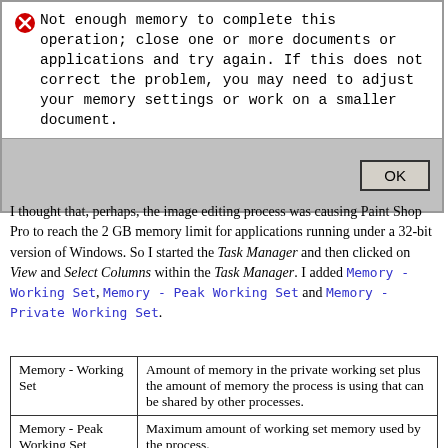[Figure (screenshot): Error dialog box with red X icon showing memory error message and OK button]
I thought that, perhaps, the image editing process was causing Paint Shop Pro to reach the 2 GB memory limit for applications running under a 32-bit version of Windows. So I started the Task Manager and then clicked on View and Select Columns within the Task Manager. I added Memory - Working Set, Memory - Peak Working Set and Memory - Private Working Set.
| Memory - Working Set | Amount of memory in the private working set plus the amount of memory the process is using that can be shared by other processes. |
| Memory - Peak Working Set | Maximum amount of working set memory used by the process. |